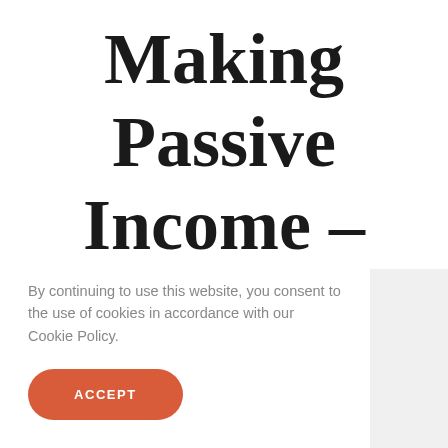Making Passive Income –
By continuing to use this website, you consent to the use of cookies in accordance with our Cookie Policy.
ACCEPT